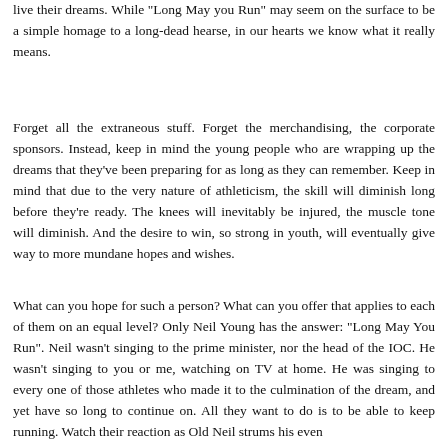live their dreams. While "Long May you Run" may seem on the surface to be a simple homage to a long-dead hearse, in our hearts we know what it really means.
Forget all the extraneous stuff. Forget the merchandising, the corporate sponsors. Instead, keep in mind the young people who are wrapping up the dreams that they've been preparing for as long as they can remember. Keep in mind that due to the very nature of athleticism, the skill will diminish long before they're ready. The knees will inevitably be injured, the muscle tone will diminish. And the desire to win, so strong in youth, will eventually give way to more mundane hopes and wishes.
What can you hope for such a person? What can you offer that applies to each of them on an equal level? Only Neil Young has the answer: "Long May You Run". Neil wasn't singing to the prime minister, nor the head of the IOC. He wasn't singing to you or me, watching on TV at home. He was singing to every one of those athletes who made it to the culmination of the dream, and yet have so long to continue on. All they want to do is to be able to keep running. Watch their reaction as Old Neil strums his even